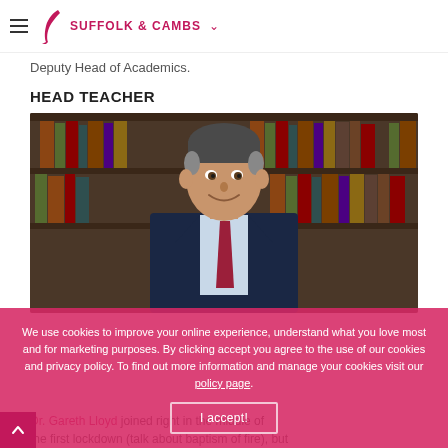SUFFOLK & CAMBS
Deputy Head of Academics.
HEAD TEACHER
[Figure (photo): Portrait photo of Dr. Gareth Lloyd, a middle-aged man in a navy suit with a red tie, smiling, seated in front of a bookcase filled with books.]
We use cookies to improve your online experience, understand what you love most and for marketing purposes. By clicking accept you agree to the use of our cookies and privacy policy. To find out more information and manage your cookies visit our policy page.
Dr. Gareth Lloyd joined right in the middle of the first lockdown (talk about baptism of fire), but